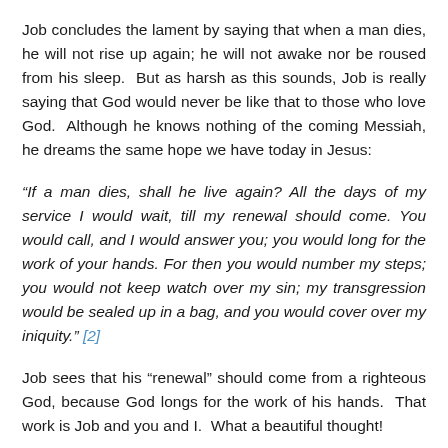Job concludes the lament by saying that when a man dies, he will not rise up again; he will not awake nor be roused from his sleep. But as harsh as this sounds, Job is really saying that God would never be like that to those who love God. Although he knows nothing of the coming Messiah, he dreams the same hope we have today in Jesus:
“If a man dies, shall he live again? All the days of my service I would wait, till my renewal should come. You would call, and I would answer you; you would long for the work of your hands. For then you would number my steps; you would not keep watch over my sin; my transgression would be sealed up in a bag, and you would cover over my iniquity.” [2]
Job sees that his “renewal” should come from a righteous God, because God longs for the work of his hands. That work is Job and you and I. What a beautiful thought!